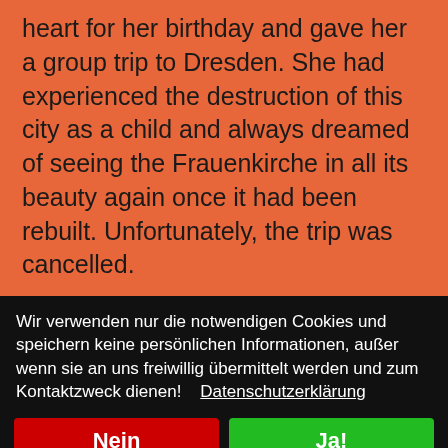heart for her birthday and gave her a group trip to Dresden. She had experienced the destruction of this city as a child and always dreamed of seeing the Frauenkirche in all its beauty again once it had been rebuilt. Unfortunately, the trip was cancelled.
My mother-in-law experienced a terrible childhood: expulsion and flight from Upper Silesia with 12 siblings, a very small sister starved to death, a brother died in an explosion, the
Wir verwenden nur die notwendigen Cookies und speichern keine persönlichen Informationen, außer wenn sie an uns freiwillig übermittelt werden und zum Kontaktzweck dienen!    Datenschutzerklärung
Nein
Ja!